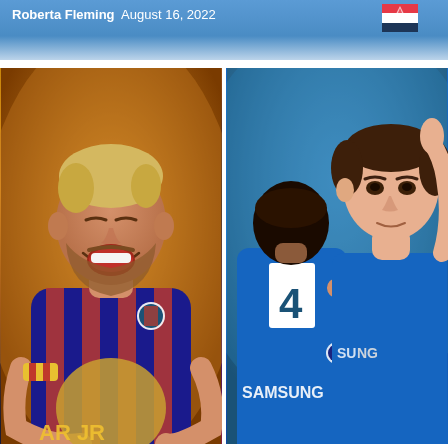Roberta Fleming  August 16, 2022
[Figure (photo): Two side-by-side sports photos: Left - Lionel Messi in FC Barcelona red-blue kit laughing and embracing a teammate (visible Barcelona crest and striped armband), warm amber/orange background. Right - Two Chelsea FC players in blue Samsung-sponsored kits embracing/celebrating, one player facing away showing number on back.]